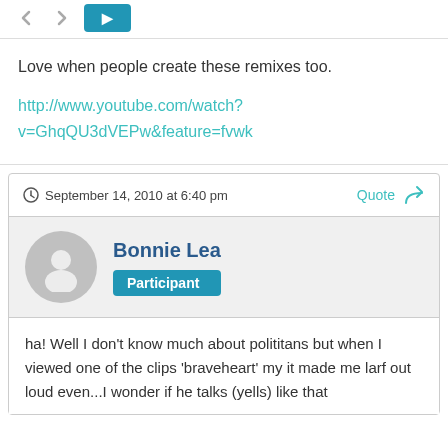Love when people create these remixes too.
http://www.youtube.com/watch?v=GhqQU3dVEPw&feature=fvwk
September 14, 2010 at 6:40 pm
Bonnie Lea
Participant
ha!  Well I don't know much about polititans but when I viewed one of the clips 'braveheart'  my it made me larf out loud even...I wonder if he talks (yells) like that